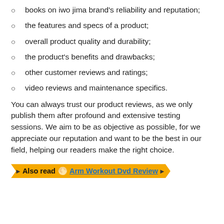books on iwo jima brand's reliability and reputation;
the features and specs of a product;
overall product quality and durability;
the product's benefits and drawbacks;
other customer reviews and ratings;
video reviews and maintenance specifics.
You can always trust our product reviews, as we only publish them after profound and extensive testing sessions. We aim to be as objective as possible, for we appreciate our reputation and want to be the best in our field, helping our readers make the right choice.
Also read 🌕 Arm Workout Dvd Review